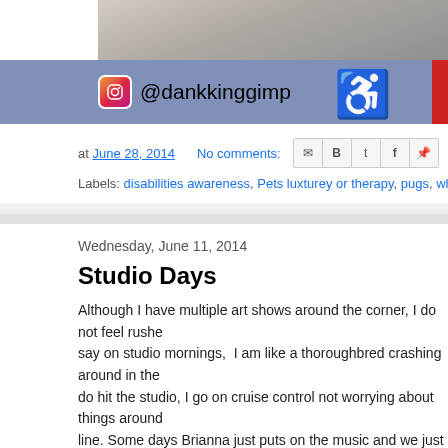[Figure (photo): Top banner photo showing blurred animal or person image, partially visible]
[Figure (infographic): Blue bar with Instagram icon, @dankkinggimp handle, wheelchair/cactus disability symbol, and red block on right edge]
at June 28, 2014   No comments:
Labels: disabilities awareness, Pets luxturey or therapy, pugs, wheelchai
Wednesday, June 11, 2014
Studio Days
Although I have multiple art shows around the corner, I do not feel rushed. say on studio mornings,  I am like a thoroughbred crashing around in the do hit the studio, I go on cruise control not worrying about things around line. Some days Brianna just puts on the music and we just break for lun talk about each other's work and other "stuff". It is just all part of the proc awesomeness!